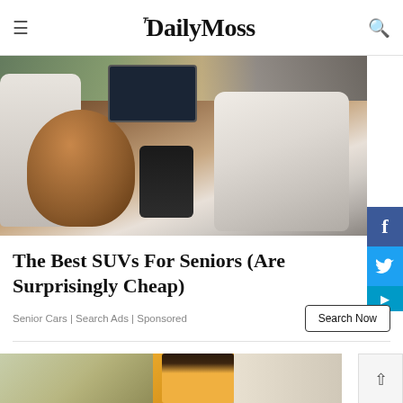The Daily Moss
[Figure (photo): Interior of a luxury SUV showing brown leather seats, white/gray upholstered rear seats, a large rear-seat entertainment screen, and center console controls. Background shows outdoor parking area with people.]
The Best SUVs For Seniors (Are Surprisingly Cheap)
Senior Cars | Search Ads | Sponsored
[Figure (photo): A woman with dark hair in a braid wearing a yellow top, cleaning or working near a door or furniture, partially visible at bottom of page.]